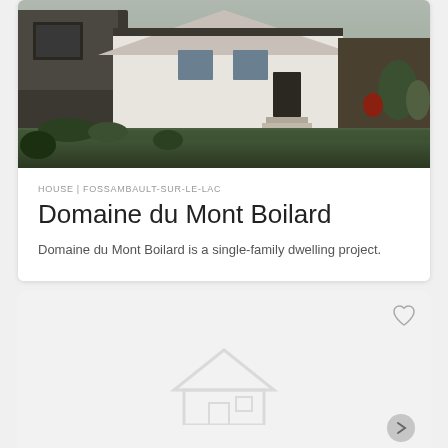[Figure (photo): Exterior rendering of a modern single-family house with white siding, dark accents, front steps, and landscaped garden with green grass and plants]
HOUSE | FOSSAMBAULT-SUR-LE-LAC
Domaine du Mont Boilard
Domaine du Mont Boilard is a single-family dwelling project.
[Figure (photo): Second listing card with a light grey background, a heart/favorite icon in the top-right corner, a placeholder house icon in the center-bottom, and a navigation arrow button in the bottom-right corner]